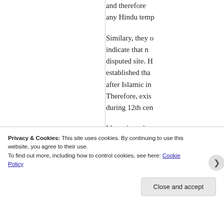and therefore any Hindu temp
Similary, they indicate that n disputed site. H established tha after Islamic in Therefore, exis during 12th cen
I have just give unravelled duri judgement to u on how these s
Privacy & Cookies: This site uses cookies. By continuing to use this website, you agree to their use.
To find out more, including how to control cookies, see here: Cookie Policy